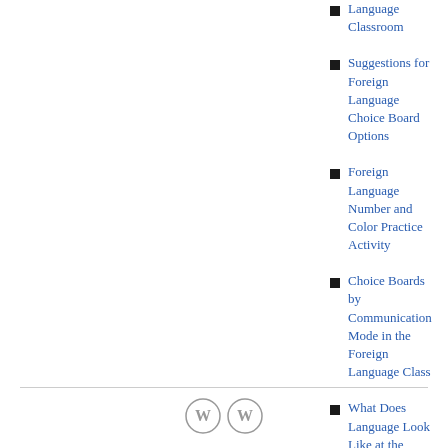Language Classroom
Suggestions for Foreign Language Choice Board Options
Foreign Language Number and Color Practice Activity
Choice Boards by Communication Mode in the Foreign Language Class
What Does Language Look Like at the Various Proficiency Levels?
49: Revisit Competency-Based Grading & Rubrics
WordPress icons